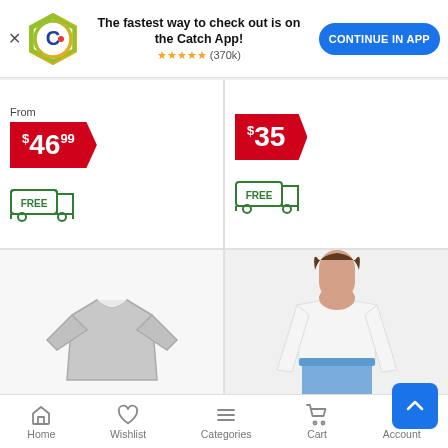[Figure (screenshot): Catch app banner with logo, text 'The fastest way to check out is on the Catch App!', star rating (370k), and CONTINUE IN APP button]
From
$46.99
[Figure (illustration): Free shipping truck icon (green outlined)]
$35
[Figure (illustration): Free shipping truck icon (green outlined)]
[Figure (photo): Gray polo/rugby sweatshirt product photo on white background]
Jolie & Joy By Fct With
[Figure (photo): Woman wearing white long-sleeve crop top with jeans, product photo]
Necessary Objects
Home  Wishlist  Categories  Cart  Account